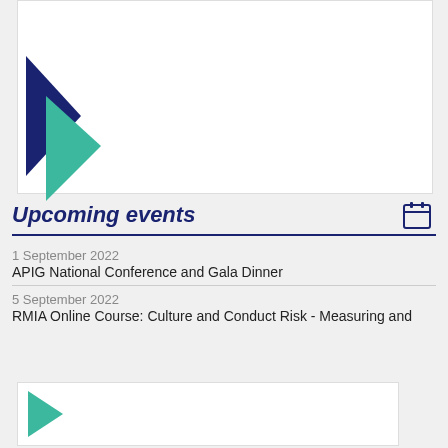[Figure (logo): Logo with dark navy and teal/green arrow chevron shapes]
Upcoming events
1 September 2022
APIG National Conference and Gala Dinner
5 September 2022
RMIA Online Course: Culture and Conduct Risk - Measuring and
[Figure (logo): Teal/green arrow chevron shape (partial bottom card)]